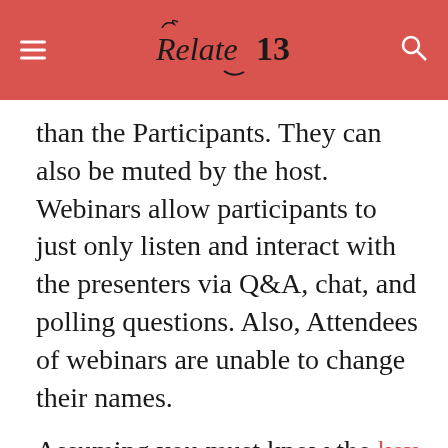Relate13 [logo header with hamburger and search icons]
than the Participants. They can also be muted by the host. Webinars allow participants to just only listen and interact with the presenters via Q&A, chat, and polling questions. Also, Attendees of webinars are unable to change their names.
Assuming you must know the key difference between meetings and webinars. So let us get started with how you can host a zoom webinar.